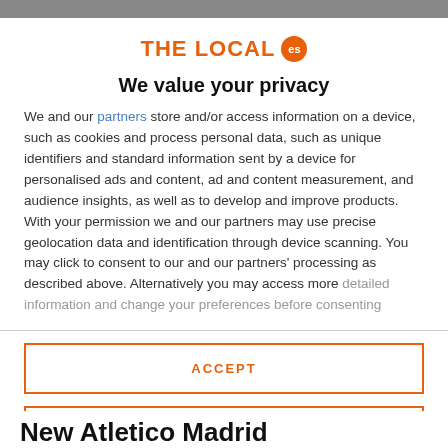[Figure (logo): THE LOCAL es logo — orange text with orange circle badge showing 'es']
We value your privacy
We and our partners store and/or access information on a device, such as cookies and process personal data, such as unique identifiers and standard information sent by a device for personalised ads and content, ad and content measurement, and audience insights, as well as to develop and improve products. With your permission we and our partners may use precise geolocation data and identification through device scanning. You may click to consent to our and our partners' processing as described above. Alternatively you may access more detailed information and change your preferences before consenting
ACCEPT
MORE OPTIONS
New Atletico Madrid